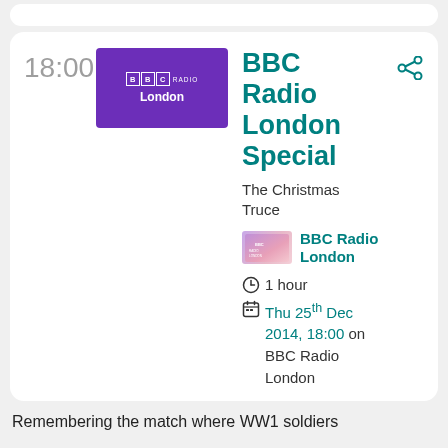[Figure (screenshot): Top partial card (white rounded rectangle, partially visible)]
18:00
[Figure (logo): BBC Radio London logo - purple rectangle with BBC RADIO London text in white]
BBC Radio London Special
The Christmas Truce
[Figure (logo): BBC Radio London small channel logo]
BBC Radio London
1 hour
Thu 25th Dec 2014, 18:00 on BBC Radio London
Remembering the match where WW1 soldiers